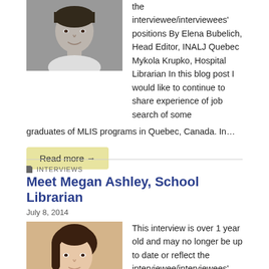[Figure (photo): Black and white headshot of a man, smiling]
the interviewee/interviewees' positions By Elena Bubelich, Head Editor, INALJ Quebec  Mykola Krupko, Hospital Librarian In this blog post I would like to continue to share experience of job search of some graduates of MLIS programs in Quebec, Canada. In…
Read more →
INTERVIEWS
Meet Megan Ashley, School Librarian
July 8, 2014
[Figure (photo): Color photo of a woman with dark hair pulled back, smiling slightly]
This interview is over 1 year old and may no longer be up to date or reflect the interviewee/interviewees' positions by Rachael Altman, Head Editor, INALJ Illinois Meet Megan…